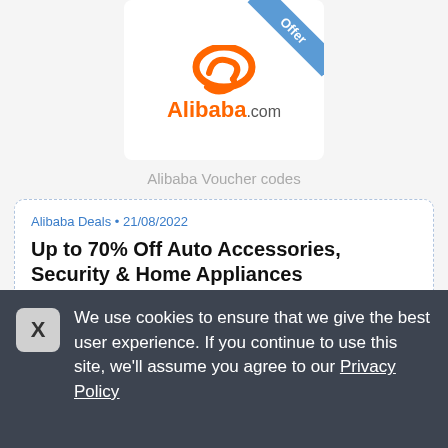[Figure (logo): Alibaba.com logo with orange swoosh/figure icon and orange 'Alibaba' text with grey '.com', with a blue diagonal ribbon banner in top-right corner saying 'Offer']
Alibaba Voucher codes
Alibaba Deals • 21/08/2022
Up to 70% Off Auto Accessories, Security & Home Appliances
Get Up to 70% Off Auto Accessories, Security & Home Appliances
We use cookies to ensure that we give the best user experience. If you continue to use this site, we'll assume you agree to our Privacy Policy